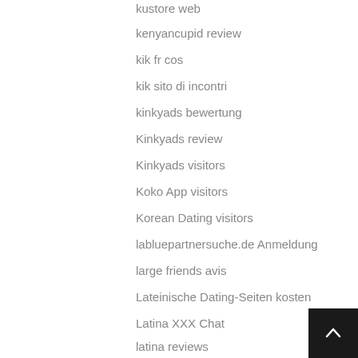kustore web
kenyancupid review
kik fr cos
kik sito di incontri
kinkyads bewertung
Kinkyads review
Kinkyads visitors
Koko App visitors
Korean Dating visitors
labluepartnersuche.de Anmeldung
large friends avis
Lateinische Dating-Seiten kosten
Latina XXX Chat
latina reviews